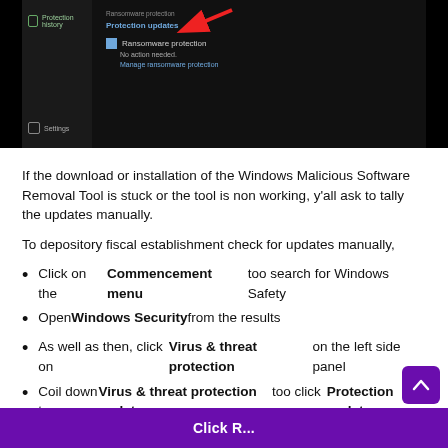[Figure (screenshot): Windows Security screenshot showing Protection History panel on left sidebar and Ransomware protection checkbox with 'No action needed' text. A red arrow points to 'Protection updates' link. Dark/black background UI.]
If the download or installation of the Windows Malicious Software Removal Tool is stuck or the tool is non working, y'all ask to tally the updates manually.
To depository fiscal establishment check for updates manually,
Click on the Commencement menu too search for Windows Safety
Open Windows Security from the results
As well as then, click on Virus & threat protection on the left side panel
Coil down to Virus & threat protection updates too click on Protection updates
Information technology volition choose you lot to...
Click R...